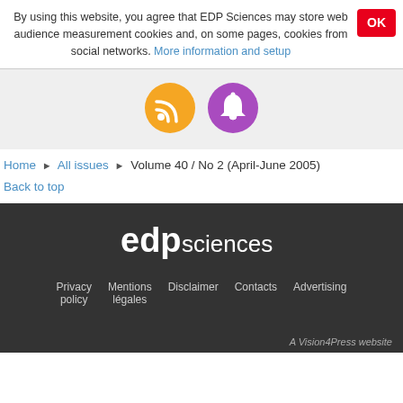By using this website, you agree that EDP Sciences may store web audience measurement cookies and, on some pages, cookies from social networks. More information and setup
[Figure (other): Orange RSS feed icon circle and purple bell notification icon circle]
Home › All issues › Volume 40 / No 2 (April-June 2005)
Back to top
[Figure (logo): EDP Sciences logo in white on dark background]
Privacy policy   Mentions légales   Disclaimer   Contacts   Advertising
A Vision4Press website